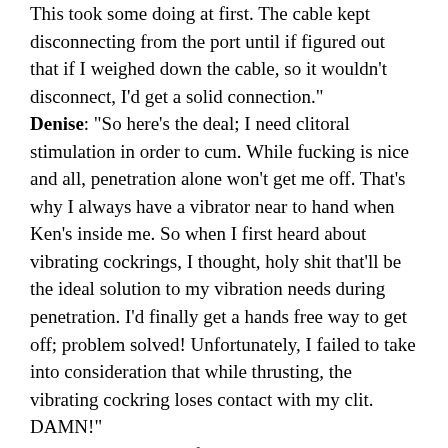This took some doing at first. The cable kept disconnecting from the port until if figured out that if I weighed down the cable, so it wouldn't disconnect, I'd get a solid connection."
Denise: "So here's the deal; I need clitoral stimulation in order to cum. While fucking is nice and all, penetration alone won't get me off. That's why I always have a vibrator near to hand when Ken's inside me. So when I first heard about vibrating cockrings, I thought, holy shit that'll be the ideal solution to my vibration needs during penetration. I'd finally get a hands free way to get off; problem solved! Unfortunately, I failed to take into consideration that while thrusting, the vibrating cockring loses contact with my clit. DAMN!"
Ken: "I didn't think of that either, but don't lose heart. We'll have more to say about that in a bit. The business end of Pivot, where the vibe is, is at 3" in length, 2" in width and about 1.25" thick. The hole of